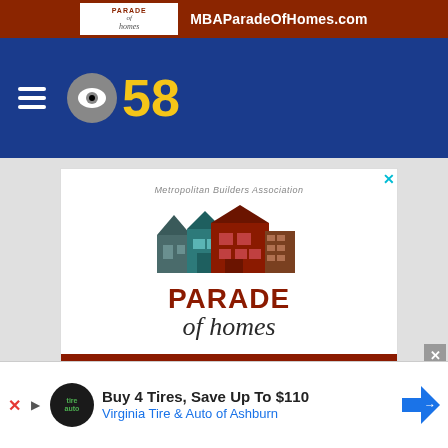[Figure (screenshot): Top advertisement banner for MBA Parade of Homes showing logo and website MBAParadeOfHomes.com on dark red background]
[Figure (logo): CBS 58 navigation bar with hamburger menu icon, CBS eye logo, and '58' in gold on dark blue background]
[Figure (illustration): Metropolitan Builders Association Parade of Homes advertisement with house illustration logos, event title, and dates AUGUST 13 - SEPTEMBER 5, MBAParadeOfHomes.com]
[Figure (screenshot): Bottom advertisement for Virginia Tire & Auto of Ashburn: 'Buy 4 Tires, Save Up To $110']